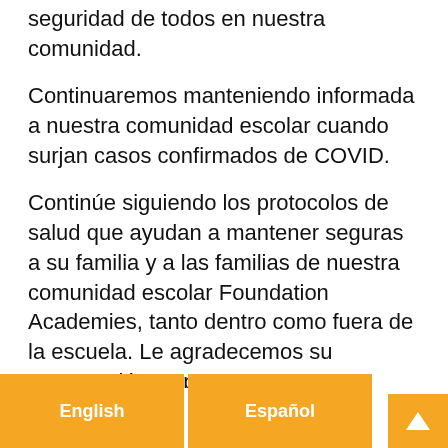seguridad de todos en nuestra comunidad.
Continuaremos manteniendo informada a nuestra comunidad escolar cuando surjan casos confirmados de COVID.
Continúe siguiendo los protocolos de salud que ayudan a mantener seguras a su familia y a las familias de nuestra comunidad escolar Foundation Academies, tanto dentro como fuera de la escuela. Le agradecemos su cooperación y apoyo.
En comunidad,
[Figure (illustration): Handwritten signature]
English   Español   ▲